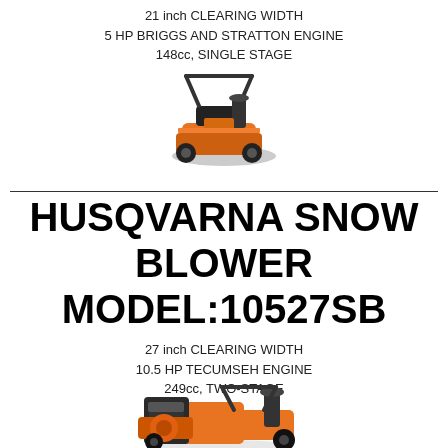21 inch CLEARING WIDTH
5 HP BRIGGS AND STRATTON ENGINE
148cc, SINGLE STAGE
[Figure (illustration): Orange and black single-stage snow blower, viewed from front-left angle]
HUSQVARNA SNOW BLOWER
MODEL:10527SB
27 inch CLEARING WIDTH
10.5 HP TECUMSEH ENGINE
249cc, TWO-STAGE
[Figure (illustration): Orange and black two-stage snow blower, partially visible at bottom of page]